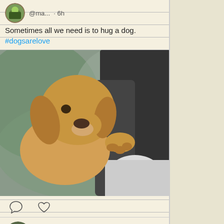@ma... · 6h
Sometimes all we need is to hug a dog. #dogsarelove
[Figure (photo): A golden retriever resting its head on a person's shoulder, being hugged, blurred background]
[Figure (other): Comment and heart/like icons]
Mama Lik... @ma... · 7h
T. S. Eliot.- #quote #image Via Brainyquote.com
[Figure (photo): Desert sand dunes with text overlay reading: Only those who will risk going too far can possibly find out how far]